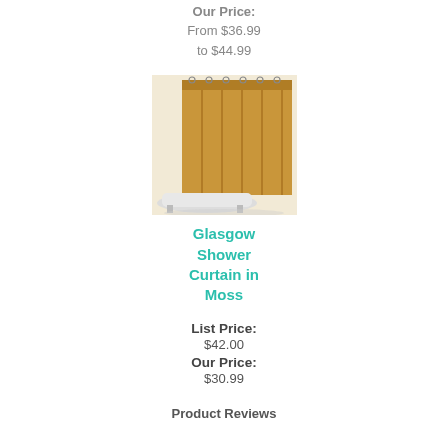Our Price:
From $36.99
to $44.99
[Figure (photo): Photo of Glasgow Shower Curtain in Moss color, showing a golden/mustard colored shower curtain hanging next to a bathtub]
Glasgow Shower Curtain in Moss
List Price:
$42.00
Our Price:
$30.99
Product Reviews